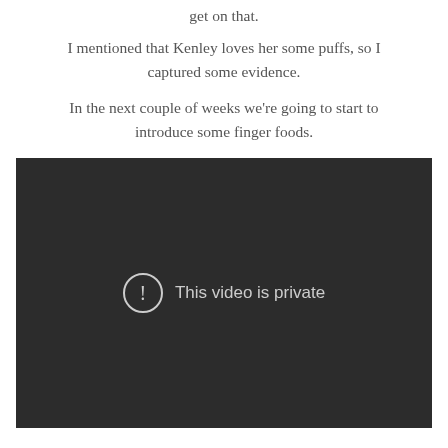get on that.
I mentioned that Kenley loves her some puffs, so I captured some evidence.
In the next couple of weeks we're going to start to introduce some finger foods.
[Figure (screenshot): Dark video player showing 'This video is private' message with exclamation mark icon in a circle]